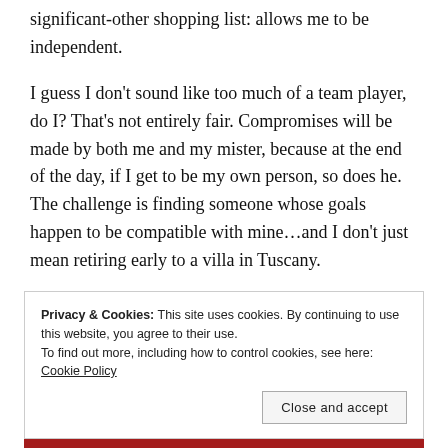significant-other shopping list: allows me to be independent.
I guess I don't sound like too much of a team player, do I? That's not entirely fair. Compromises will be made by both me and my mister, because at the end of the day, if I get to be my own person, so does he. The challenge is finding someone whose goals happen to be compatible with mine…and I don't just mean retiring early to a villa in Tuscany.
Privacy & Cookies: This site uses cookies. By continuing to use this website, you agree to their use. To find out more, including how to control cookies, see here: Cookie Policy
Close and accept
the web — ours and